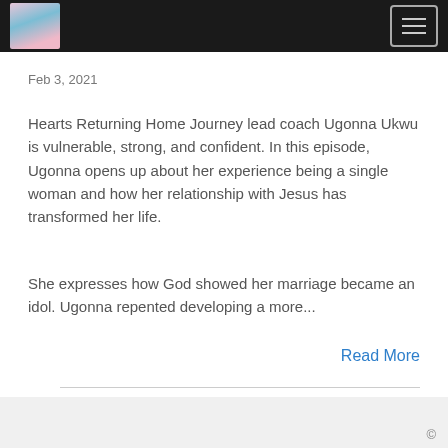Hearts Returning Home Journey — website header with logo and navigation menu
Feb 3, 2021
Hearts Returning Home Journey lead coach Ugonna Ukwu is vulnerable, strong, and confident. In this episode, Ugonna opens up about her experience being a single woman and how her relationship with Jesus has transformed her life.
She expresses how God showed her marriage became an idol. Ugonna repented developing a more...
Read More
©